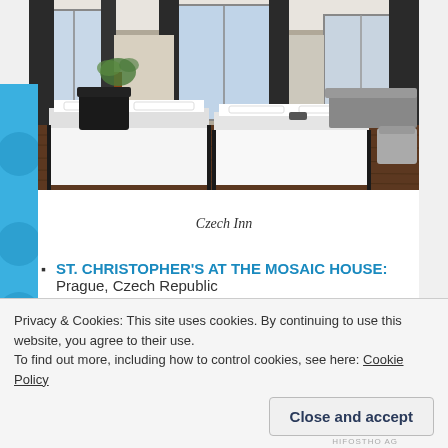[Figure (photo): Interior of Czech Inn hotel room with white beds, dark wood floors, large windows with dark curtains, and a decorative chandelier]
Czech Inn
ST. CHRISTOPHER'S AT THE MOSAIC HOUSE: Prague, Czech Republic
CZECH INN: Prague, Czech Republic
Privacy & Cookies: This site uses cookies. By continuing to use this website, you agree to their use.
To find out more, including how to control cookies, see here: Cookie Policy
Close and accept